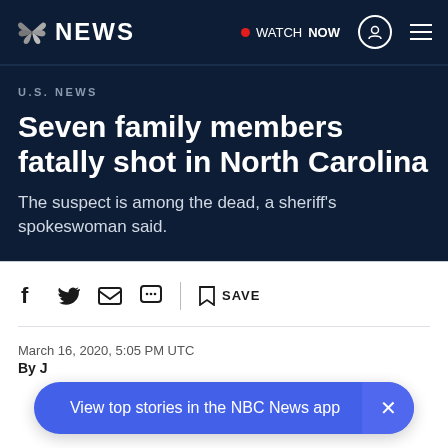NBC NEWS — WATCH NOW
U.S. NEWS
Seven family members fatally shot in North Carolina
The suspect is among the dead, a sheriff's spokeswoman said.
March 16, 2020, 5:05 PM UTC
By J
View top stories in the NBC News app